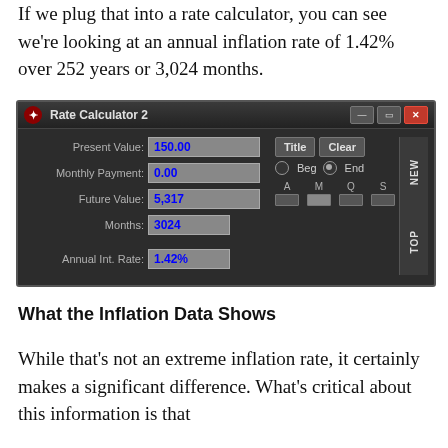If we plug that into a rate calculator, you can see we're looking at an annual inflation rate of 1.42% over 252 years or 3,024 months.
[Figure (screenshot): Screenshot of Rate Calculator 2 software showing: Present Value: 150.00, Monthly Payment: 0.00, Future Value: 5,317, Months: 3024, Annual Int. Rate: 1.42%]
What the Inflation Data Shows
While that’s not an extreme inflation rate, it certainly makes a significant difference. What’s critical about this information is that